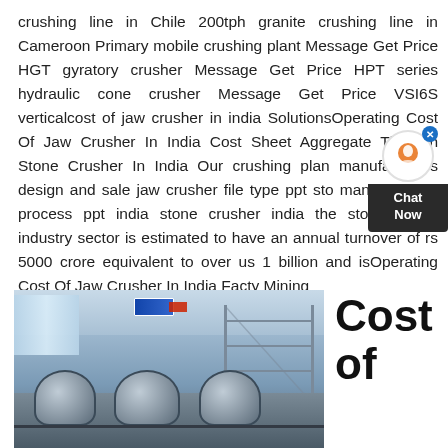crushing line in Chile 200tph granite crushing line in Cameroon Primary mobile crushing plant Message Get Price HGT gyratory crusher Message Get Price HPT series hydraulic cone crusher Message Get Price VSI6S verticalcost of jaw crusher in india SolutionsOperating Cost Of Jaw Crusher In India Cost Sheet Aggregate Through Stone Crusher In India Our crushing plant manufacturers design and sale jaw crusher file type ppt stone manufacturing process ppt india stone crusher india the stone crushing industry sector is estimated to have an annual turnover of rs 5000 crore equivalent to over us 1 billion and isOperating Cost Of Jaw Crusher In India Facty Mining
[Figure (photo): Industrial stone crusher machinery inside a large factory/warehouse building, showing multiple large crusher units with rounded tops, scaffolding structure, and a blue sign in the background.]
Cost of